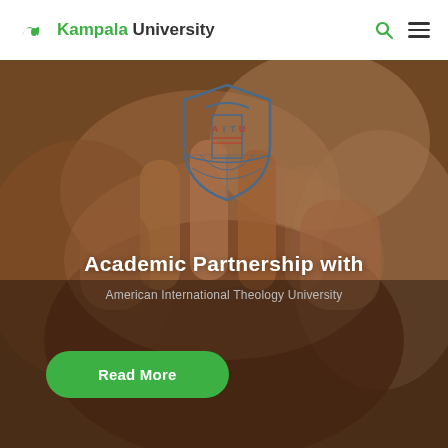Kampala University
[Figure (photo): Hero image of multiple hands joined together in partnership/teamwork gesture, with warm brown tones. An AITU (American International Theology University) shield logo is overlaid in the center top area.]
Academic Partnership with
American International Theology University
Read More